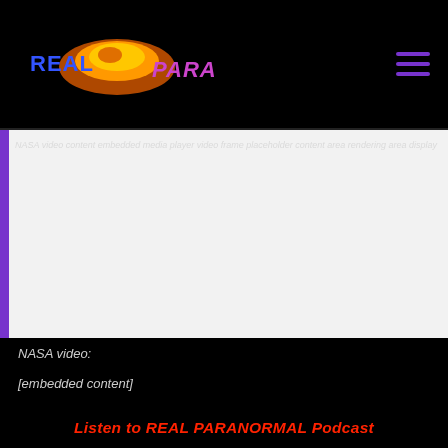[Figure (logo): Real Para logo with orange/yellow UFO shape and purple/blue text reading REAL and PARA]
[Figure (screenshot): Embedded video player with white/light background showing NASA video content, with purple left border bar]
NASA video:
[embedded content]
Listen to REAL PARANORMAL Podcast